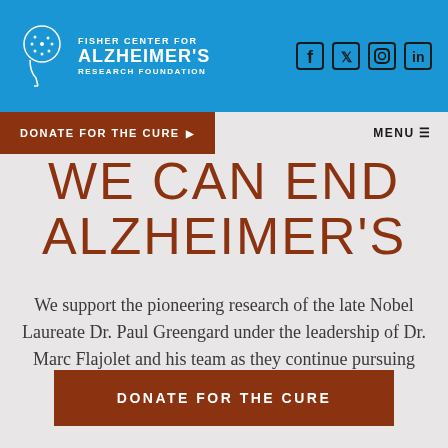Fisher Center for Alzheimer's Research Foundation
DONATE FOR THE CURE
MENU
WE CAN END ALZHEIMER'S
We support the pioneering research of the late Nobel Laureate Dr. Paul Greengard under the leadership of Dr. Marc Flajolet and his team as they continue pursuing the quest for a cure.
DONATE FOR THE CURE